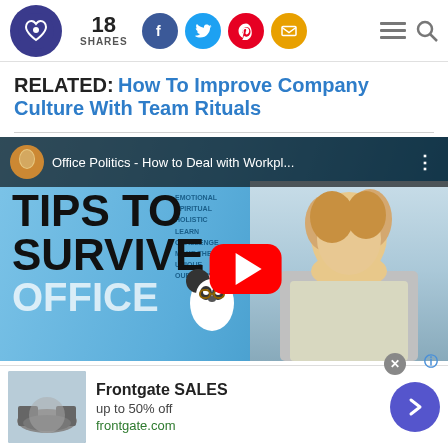18 SHARES — social sharing bar with Facebook, Twitter, Pinterest, Email icons
RELATED: How To Improve Company Culture With Team Rituals
[Figure (screenshot): YouTube video thumbnail for 'Office Politics - How to Deal with Workpl...' showing bold text 'TIPS TO SURVIVE OFFICE' with a woman and panda mascot, YouTube play button in center]
[Figure (infographic): Advertisement for Frontgate SALES — up to 50% off, frontgate.com, with product image of outdoor furniture and a blue arrow navigation button]